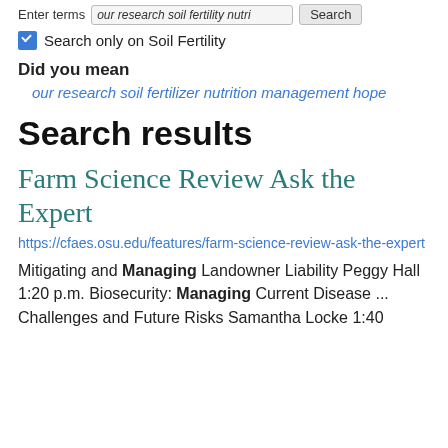Enter terms  our research soil fertility nutri  Search
Search only on Soil Fertility
Did you mean
our research soil fertilizer nutrition management hope
Search results
Farm Science Review Ask the Expert
https://cfaes.osu.edu/features/farm-science-review-ask-the-expert
Mitigating and Managing Landowner Liability Peggy Hall 1:20 p.m. Biosecurity: Managing Current Disease ... Challenges and Future Risks Samantha Locke 1:40